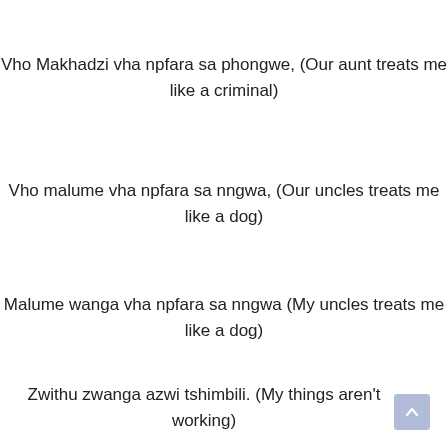Vho Makhadzi vha npfara sa phongwe,
(Our aunt treats me like a criminal)
Vho malume vha npfara sa nngwa,
(Our uncles treats me like a dog)
Malume wanga vha npfara sa nngwa
(My uncles treats me like a dog)
Zwithu zwanga azwi tshimbili.
(My things aren't working)